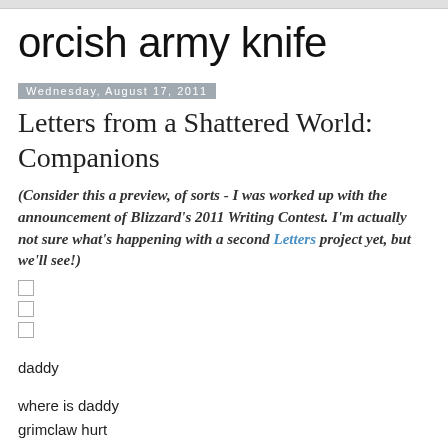orcish army knife
Wednesday, August 17, 2011
Letters from a Shattered World: Companions
(Consider this a preview, of sorts - I was worked up with the announcement of Blizzard's 2011 Writing Contest. I'm actually not sure what's happening with a second Letters project yet, but we'll see!)
daddy
where is daddy
grimclaw hurt